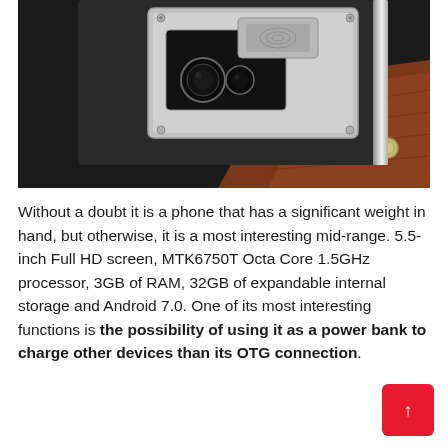[Figure (photo): Close-up photo of the back of a luxury/rugged smartphone with brushed black metal body, silver camera module area with fingerprint sensor and dual camera lenses, chrome side rails, resting on brown leather surface]
Without a doubt it is a phone that has a significant weight in hand, but otherwise, it is a most interesting mid-range. 5.5-inch Full HD screen, MTK6750T Octa Core 1.5GHz processor, 3GB of RAM, 32GB of expandable internal storage and Android 7.0. One of its most interesting functions is the possibility of using it as a power bank to charge other devices than its OTG connection.